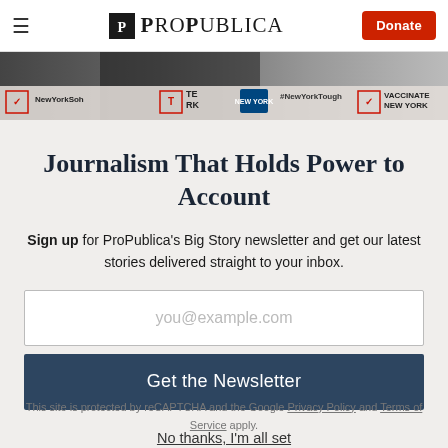ProPublica — Donate
[Figure (photo): Photo banner showing a press conference scene with New York state vaccination campaign signage including 'NewYorkTough', 'Vaccinate New York', and related branding]
Journalism That Holds Power to Account
Sign up for ProPublica's Big Story newsletter and get our latest stories delivered straight to your inbox.
you@example.com
Get the Newsletter
No thanks, I'm all set
This site is protected by reCAPTCHA and the Google Privacy Policy and Terms of Service apply.